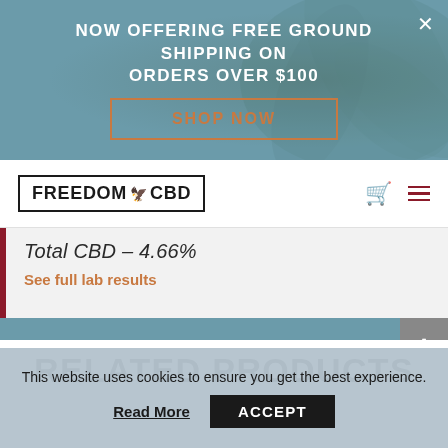Now offering FREE Ground Shipping on orders over $100
SHOP NOW
[Figure (logo): FREEDOM CBD logo with eagle emblem in bordered box]
Total CBD - 4.66%
See full lab results
RELATED PRODUCTS
This website uses cookies to ensure you get the best experience.
Read More
ACCEPT